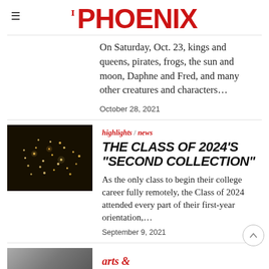THE PHOENIX
On Saturday, Oct. 23, kings and queens, pirates, frogs, the sun and moon, Daphne and Fred, and many other creatures and characters...
October 28, 2021
highlights / news
THE CLASS OF 2024'S "SECOND COLLECTION"
As the only class to begin their college career fully remotely, the Class of 2024 attended every part of their first-year orientation,...
September 9, 2021
arts &